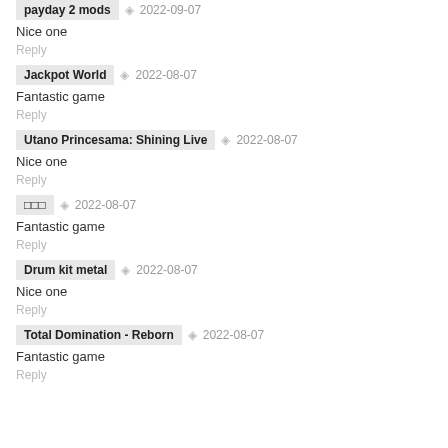Nice one
Reply
Jackpot World  2022-08-07
Fantastic game
Reply
Utano Princesama: Shining Live  2022-08-07
Nice one
Reply
□□□  2022-08-07
Fantastic game
Reply
Drum kit metal  2022-08-07
Nice one
Reply
Total Domination - Reborn  2022-08-07
Fantastic game
Reply